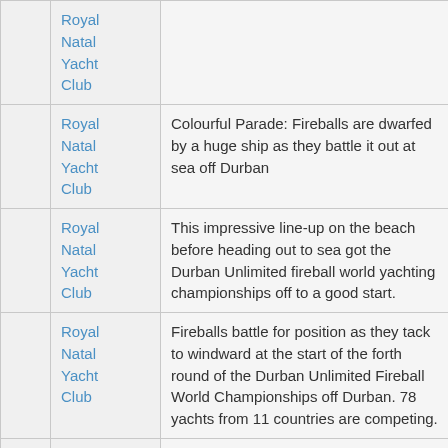|  |  |  |
| --- | --- | --- |
|  | Royal Natal Yacht Club |  |
|  | Royal Natal Yacht Club | Colourful Parade: Fireballs are dwarfed by a huge ship as they battle it out at sea off Durban |
|  | Royal Natal Yacht Club | This impressive line-up on the beach before heading out to sea got the Durban Unlimited fireball world yachting championships off to a good start. |
|  | Royal Natal Yacht Club | Fireballs battle for position as they tack to windward at the start of the forth round of the Durban Unlimited Fireball World Championships off Durban. 78 yachts from 11 countries are competing. |
|  | Royal |  |